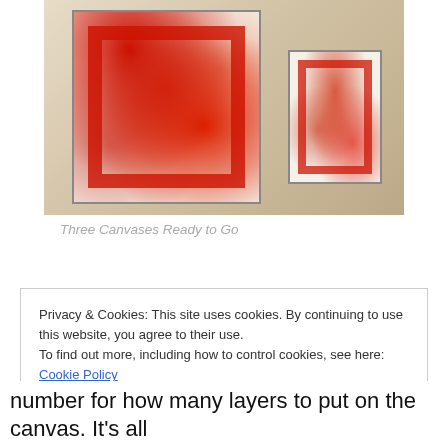[Figure (photo): Photograph showing two canvases with red abstract paintings leaning against a wall in a studio or gallery setting. The larger canvas is on the left and a smaller one on the right. Both feature heavy red paint with white and cream undertones.]
Three Canvases Ready to Go
Privacy & Cookies: This site uses cookies. By continuing to use this website, you agree to their use.
To find out more, including how to control cookies, see here: Cookie Policy
number for how many layers to put on the canvas. It's all